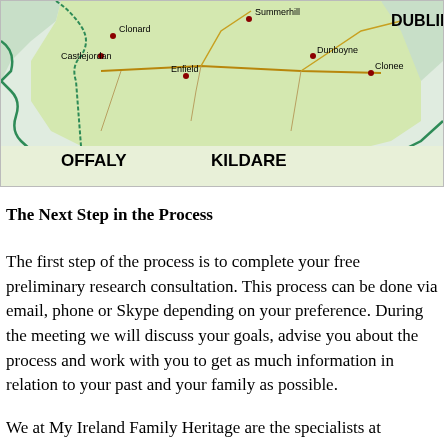[Figure (map): Map of County Meath and surrounding areas in Ireland, showing towns including Summerhill, Clonard, Castlejordan, Enfield, Dunboyne, Clonee, and county labels OFFALY, KILDARE, and DUBLIN.]
The Next Step in the Process
The first step of the process is to complete your free preliminary research consultation. This process can be done via email, phone or Skype depending on your preference. During the meeting we will discuss your goals, advise you about the process and work with you to get as much information in relation to your past and your family as possible.
We at My Ireland Family Heritage are the specialists at